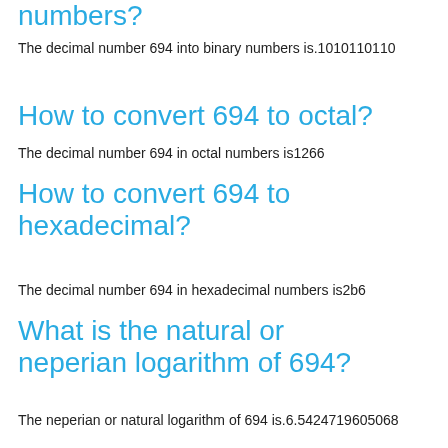numbers?
The decimal number 694 into binary numbers is.1010110110
How to convert 694 to octal?
The decimal number 694 in octal numbers is1266
How to convert 694 to hexadecimal?
The decimal number 694 in hexadecimal numbers is2b6
What is the natural or neperian logarithm of 694?
The neperian or natural logarithm of 694 is.6.5424719605068